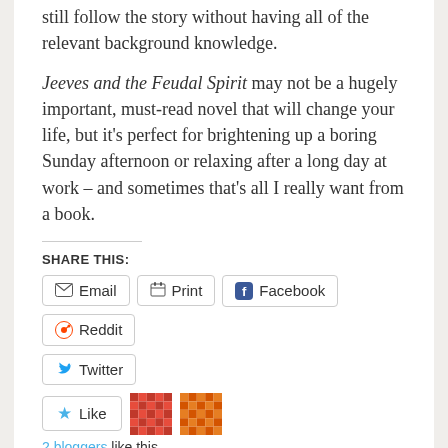still follow the story without having all of the relevant background knowledge.
Jeeves and the Feudal Spirit may not be a hugely important, must-read novel that will change your life, but it's perfect for brightening up a boring Sunday afternoon or relaxing after a long day at work – and sometimes that's all I really want from a book.
SHARE THIS:
Email
Print
Facebook
Reddit
Twitter
2 bloggers like this.